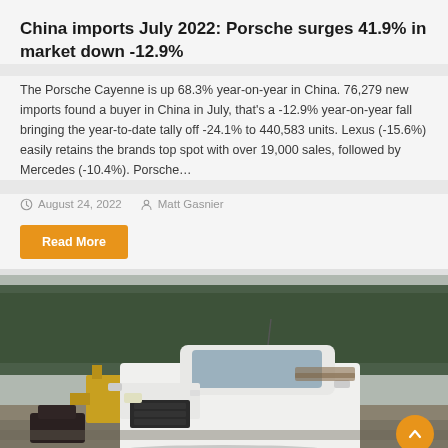China imports July 2022: Porsche surges 41.9% in market down -12.9%
The Porsche Cayenne is up 68.3% year-on-year in China. 76,279 new imports found a buyer in China in July, that's a -12.9% year-on-year fall bringing the year-to-date tally off -24.1% to 440,583 units. Lexus (-15.6%) easily retains the brands top spot with over 19,000 sales, followed by Mercedes (-10.4%). Porsche...
August 24, 2022   Matt Gasnier
Read More
[Figure (photo): Front view of a white pickup truck outdoors with trees and yellow equipment in the background]